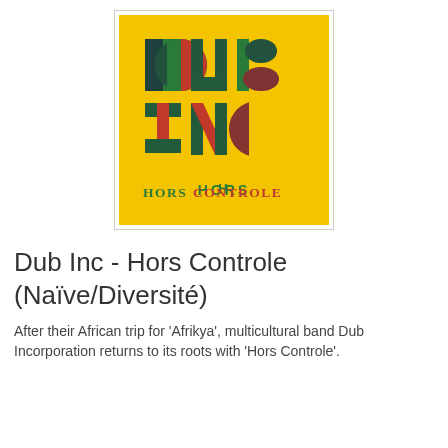[Figure (illustration): Album cover for 'Hors Controle' by Dub Inc. Yellow background with large geometric letters spelling DUB INC in green, red, and dark navy/black overlapping shapes, and 'HORS CONTROLE' in red and green text at the bottom.]
Dub Inc - Hors Controle (Naïve/Diversité)
After their African trip for 'Afrikya', multicultural band Dub Incorporation returns to its roots with 'Hors Controle'.